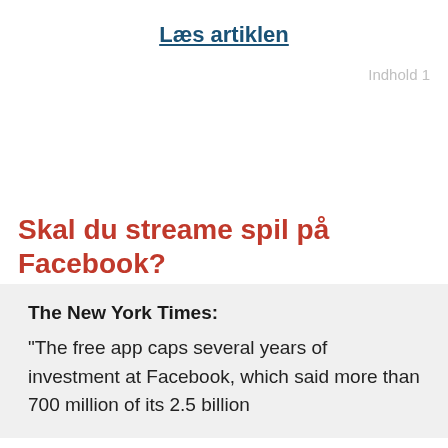Læs artiklen
Indhold 1
Skal du streame spil på Facebook?
The New York Times: “The free app caps several years of investment at Facebook, which said more than 700 million of its 2.5 billion